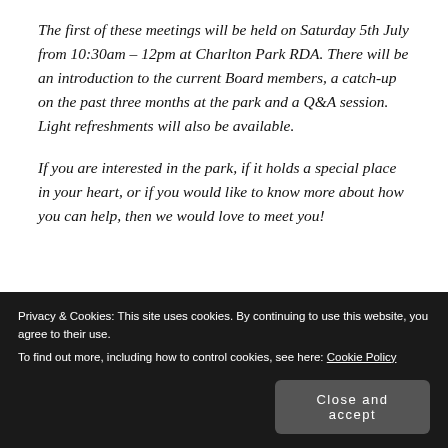The first of these meetings will be held on Saturday 5th July from 10:30am – 12pm at Charlton Park RDA. There will be an introduction to the current Board members, a catch-up on the past three months at the park and a Q&A session. Light refreshments will also be available.
If you are interested in the park, if it holds a special place in your heart, or if you would like to know more about how you can help, then we would love to meet you!
Privacy & Cookies: This site uses cookies. By continuing to use this website, you agree to their use. To find out more, including how to control cookies, see here: Cookie Policy. Close and accept